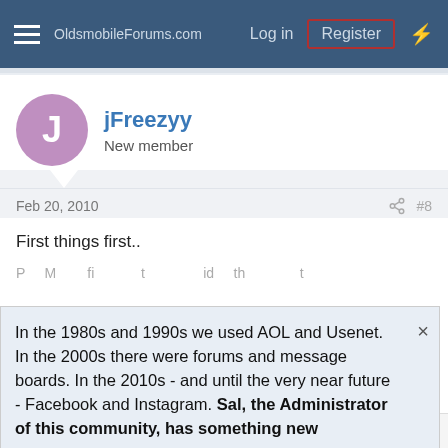OldsmobileForums.com  Log in  Register
jFreezyy
New member
Feb 20, 2010  #8
First things first..
In the 1980s and 1990s we used AOL and Usenet. In the 2000s there were forums and message boards. In the 2010s - and until the very near future - Facebook and Instagram. Sal, the Administrator of this community, has something new
[Figure (screenshot): Advertisement banner for Tally - Fast credit card payoff with Download Now button]